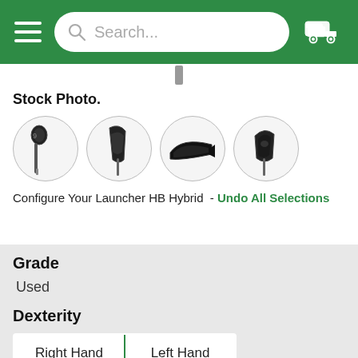Search...
Stock Photo.
[Figure (photo): Four circular thumbnail images of a golf hybrid club (Launcher HB Hybrid) showing different angles: grip end, face, sole, and back.]
Configure Your Launcher HB Hybrid  - Undo All Selections
Grade
Used
Dexterity
| Right Hand | Left Hand |
Type
4H